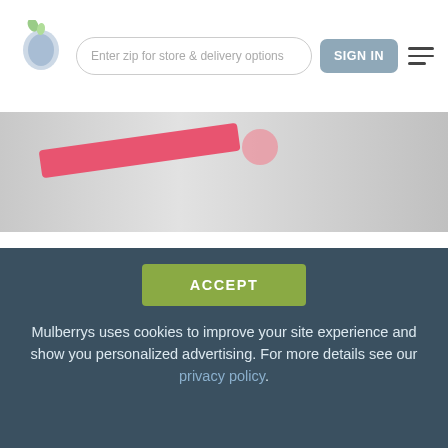Enter zip for store & delivery options | SIGN IN
[Figure (photo): Hero image strip showing a partial image with a red diagonal element on a grey background]
We first sought out to explore what inspired people to try the KonMari method for decluttering. As we expected, the inspiration for more than half of the respondents was watching the new Netflix series. In fact, more than half of millennials (61%) watched the Netflix show before making the decision to tidy up. Only 15% of people tried
ACCEPT
Mulberrys uses cookies to improve your site experience and show you personalized advertising. For more details see our privacy policy.